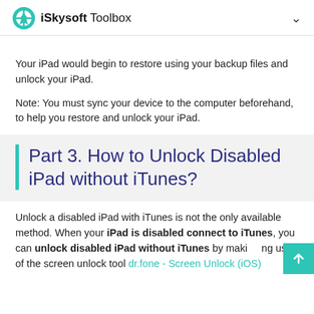iSkysoft Toolbox
Your iPad would begin to restore using your backup files and unlock your iPad.
Note: You must sync your device to the computer beforehand, to help you restore and unlock your iPad.
Part 3. How to Unlock Disabled iPad without iTunes?
Unlock a disabled iPad with iTunes is not the only available method. When your iPad is disabled connect to iTunes, you can unlock disabled iPad without iTunes by making use of the screen unlock tool dr.fone - Screen Unlock (iOS)